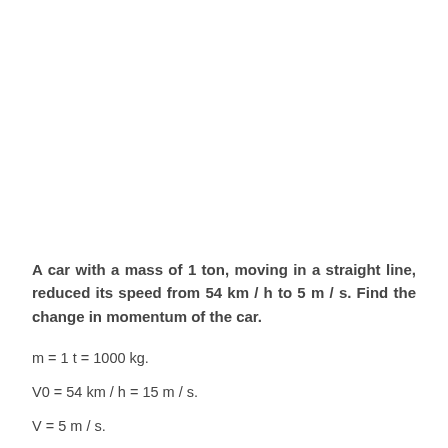A car with a mass of 1 ton, moving in a straight line, reduced its speed from 54 km / h to 5 m / s. Find the change in momentum of the car.
m = 1 t = 1000 kg.
V0 = 54 km / h = 15 m / s.
V = 5 m / s.